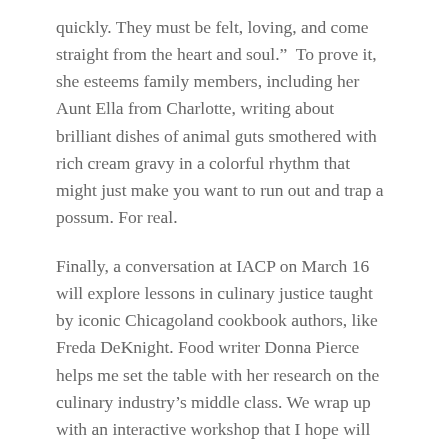quickly. They must be felt, loving, and come straight from the heart and soul.”  To prove it, she esteems family members, including her Aunt Ella from Charlotte, writing about brilliant dishes of animal guts smothered with rich cream gravy in a colorful rhythm that might just make you want to run out and trap a possum. For real.
Finally, a conversation at IACP on March 16 will explore lessons in culinary justice taught by iconic Chicagoland cookbook authors, like Freda DeKnight. Food writer Donna Pierce helps me set the table with her research on the culinary industry’s middle class. We wrap up with an interactive workshop that I hope will spur Jemima Code audiences to enact what they discover about black cooks, with inspiration from these adapted words of abolitionist Lydia Maria Child:
“For the sake of my culinary sisters still in bondage...” In Her Kitchen.